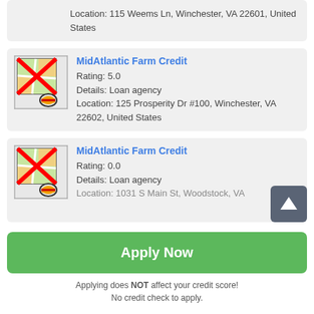Location: 115 Weems Ln, Winchester, VA 22601, United States
MidAtlantic Farm Credit
Rating: 5.0
Details: Loan agency
Location: 125 Prosperity Dr #100, Winchester, VA 22602, United States
MidAtlantic Farm Credit
Rating: 0.0
Details: Loan agency
Location: 1031 S Main St, Woodstock, VA
Apply Now
Applying does NOT affect your credit score!
No credit check to apply.